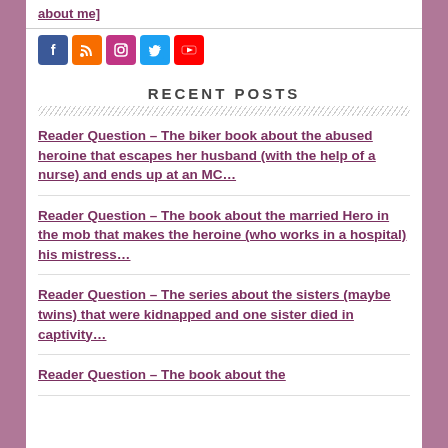about me]
[Figure (other): Social media icons: Facebook, RSS, Instagram, Twitter, YouTube]
RECENT POSTS
Reader Question – The biker book about the abused heroine that escapes her husband (with the help of a nurse) and ends up at an MC…
Reader Question – The book about the married Hero in the mob that makes the heroine (who works in a hospital) his mistress…
Reader Question – The series about the sisters (maybe twins) that were kidnapped and one sister died in captivity…
Reader Question – The book about the